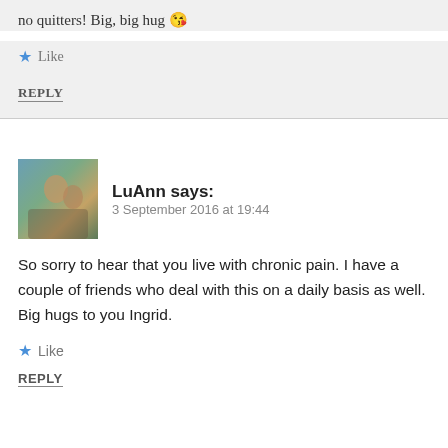no quitters! Big, big hug 😘
Like
REPLY
LuAnn says:
3 September 2016 at 19:44
So sorry to hear that you live with chronic pain. I have a couple of friends who deal with this on a daily basis as well. Big hugs to you Ingrid.
Like
REPLY